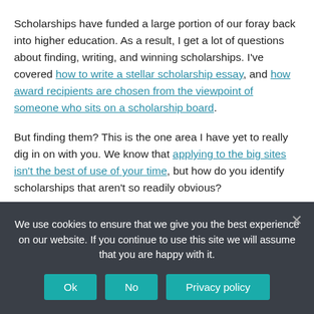Scholarships have funded a large portion of our foray back into higher education. As a result, I get a lot of questions about finding, writing, and winning scholarships. I've covered how to write a stellar scholarship essay, and how award recipients are chosen from the viewpoint of someone who sits on a scholarship board.
But finding them? This is the one area I have yet to really dig in on with you. We know that applying to the big sites isn't the best of use of your time, but how do you identify scholarships that aren't so readily obvious?
The best way we've found to do this is using a scholarship
We use cookies to ensure that we give you the best experience on our website. If you continue to use this site we will assume that you are happy with it.